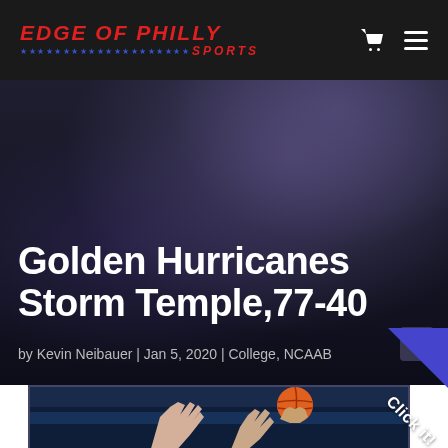EDGE OF PHILLY SPORTS
Golden Hurricanes Storm Temple,77-40
by Kevin Neibauer | Jan 5, 2020 | College, NCAAB
[Figure (photo): Basketball players reaching up with hands raised toward a basketball, with blue background stands visible]